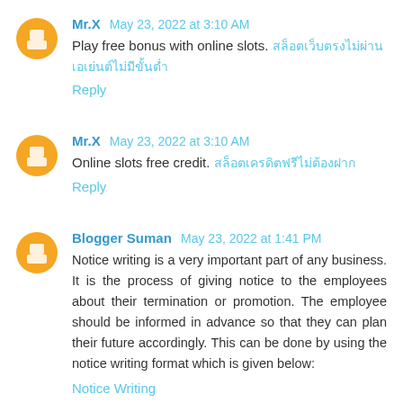Mr.X May 23, 2022 at 3:10 AM
Play free bonus with online slots. [Thai text link]
Reply
Mr.X May 23, 2022 at 3:10 AM
Online slots free credit. [Thai text link]
Reply
Blogger Suman May 23, 2022 at 1:41 PM
Notice writing is a very important part of any business. It is the process of giving notice to the employees about their termination or promotion. The employee should be informed in advance so that they can plan their future accordingly. This can be done by using the notice writing format which is given below:
Notice Writing